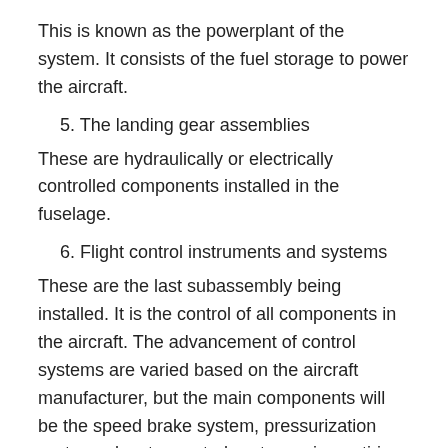This is known as the powerplant of the system. It consists of the fuel storage to power the aircraft.
5. The landing gear assemblies
These are hydraulically or electrically controlled components installed in the fuselage.
6. Flight control instruments and systems
These are the last subassembly being installed. It is the control of all components in the aircraft. The advancement of control systems are varied based on the aircraft manufacturer, but the main components will be the speed brake system, pressurization system, elevator control system, wing anti-ice system, static pitot system, and rudder trim control system.